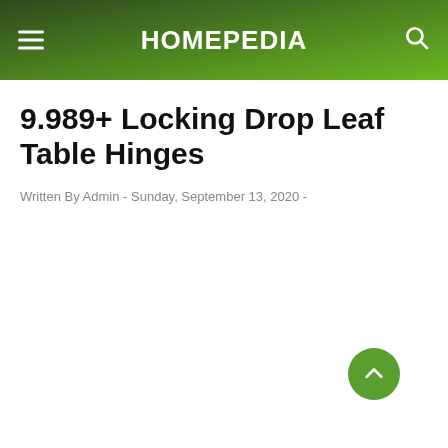HOMEPEDIA
9.989+ Locking Drop Leaf Table Hinges
Written By Admin  -  Sunday, September 13, 2020  -